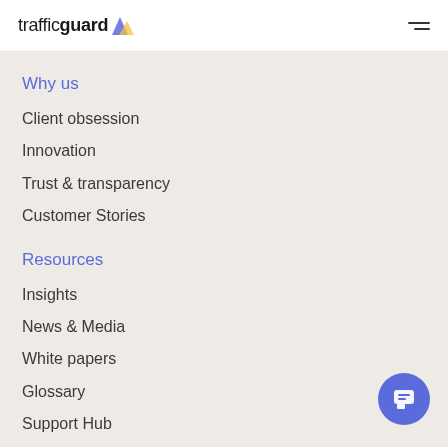trafficguard
Why us
Client obsession
Innovation
Trust & transparency
Customer Stories
Resources
Insights
News & Media
White papers
Glossary
Support Hub